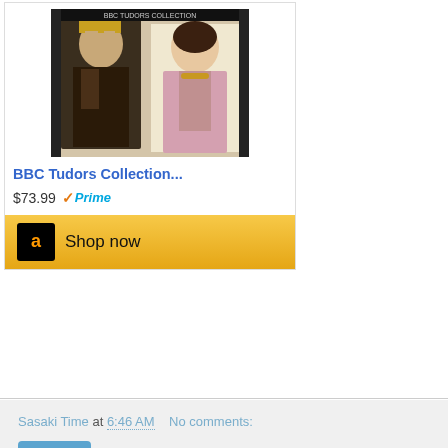[Figure (screenshot): Amazon product listing for BBC Tudors Collection DVD showing product image, price $73.99 with Prime badge, and Shop now button]
BBC Tudors Collection...
$73.99  ✓Prime
Shop now
Sasaki Time at 6:46 AM    No comments:
Share
$4.99 Halloween Movies at Amazon Instant Video
Today only, enjoy big savings on Halloween favorites at Amazon Instant Video. Buy it today, own it forever, watch it whenever! Own spooky and scary favorites like